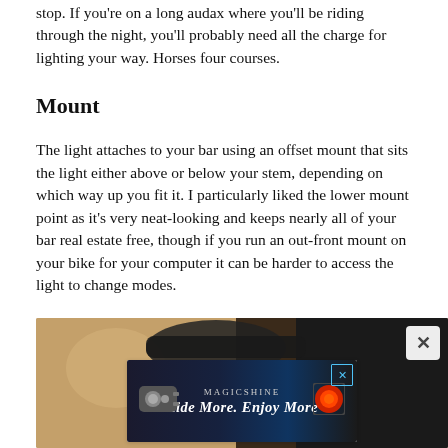stop. If you're on a long audax where you'll be riding through the night, you'll probably need all the charge for lighting your way. Horses four courses.
Mount
The light attaches to your bar using an offset mount that sits the light either above or below your stem, depending on which way up you fit it. I particularly liked the lower mount point as it's very neat-looking and keeps nearly all of your bar real estate free, though if you run an out-front mount on your bike for your computer it can be harder to access the light to change modes.
[Figure (photo): A photo of a bicycle light mounted on handlebars, with a Magicshine advertisement overlay showing a front and rear bike light with the tagline 'Ride More. Enjoy More'. The ad has a close/X button in the top right corner.]